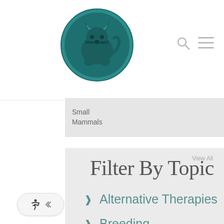[Figure (logo): Circular teal logo with an animal silhouette (cat or dog) in the center on dark teal/green background]
[Figure (other): Navigation icons: search magnifying glass and hamburger menu]
Small Mammals
Filter By Topic
View All
Alternative Therapies
Breeding
Behavior
Care & Wellness